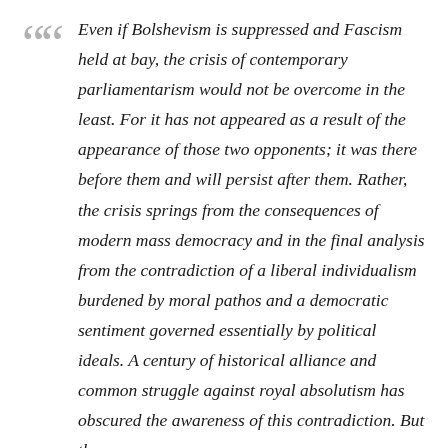Even if Bolshevism is suppressed and Fascism held at bay, the crisis of contemporary parliamentarism would not be overcome in the least. For it has not appeared as a result of the appearance of those two opponents; it was there before them and will persist after them. Rather, the crisis springs from the consequences of modern mass democracy and in the final analysis from the contradiction of a liberal individualism burdened by moral pathos and a democratic sentiment governed essentially by political ideals. A century of historical alliance and common struggle against royal absolutism has obscured the awareness of this contradiction. But the